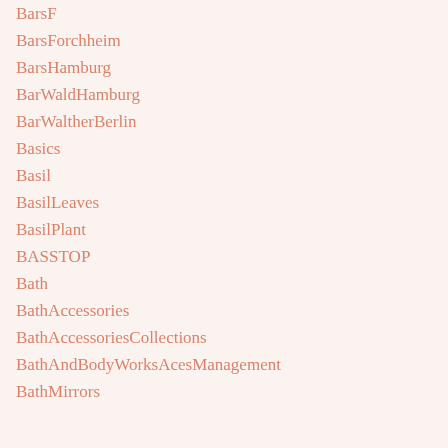BarsF
BarsForchheim
BarsHamburg
BarWaldHamburg
BarWaltherBerlin
Basics
Basil
BasilLeaves
BasilPlant
BASSTOP
Bath
BathAccessories
BathAccessoriesCollections
BathAndBodyWorksAcesManagement
BathMirrors